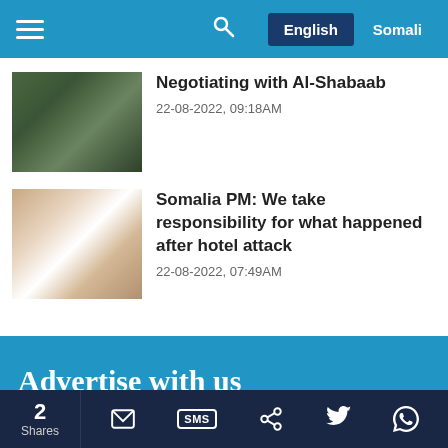Navigation bar with hamburger menu, search icon, English and Somali language buttons
Negotiating with Al-Shabaab
22-08-2022, 09:18AM
Somalia PM: We take responsibility for what happened after hotel attack
22-08-2022, 07:49AM
Advertise with us
Advertise with GaroweOnline and expose your brand to a global audience of loyal visitors from across the world
2 Shares — share icons: email, SMS, share, Twitter, WhatsApp